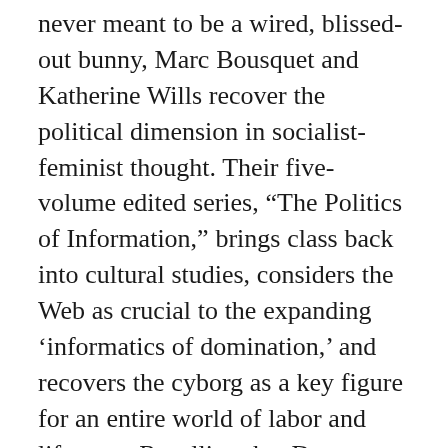never meant to be a wired, blissed-out bunny, Marc Bousquet and Katherine Wills recover the political dimension in socialist-feminist thought. Their five-volume edited series, “The Politics of Information,” brings class back into cultural studies, considers the Web as crucial to the expanding ‘informatics of domination,’ and recovers the cyborg as a key figure for an entire world of labor and lifeways. Recalling that Donna Haraway’s Cyborg was never meant to be a wired, blissed-out bunny, Marc Bousquet and Katherine Wills recover the political dimensio... continue